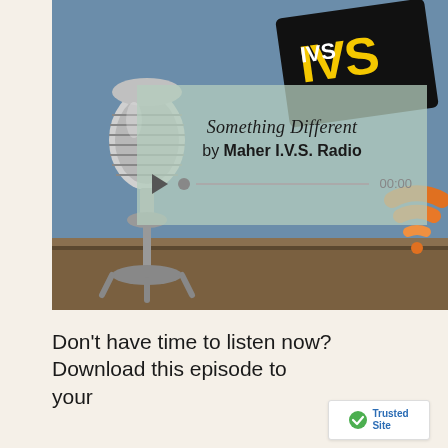[Figure (screenshot): A podcast/radio player screenshot showing a vintage microphone on the left, an IVS Radio logo in the upper right, a WiFi signal icon on the right, and a semi-transparent player overlay in the center with song title 'Something Different' by Maher I.V.S. Radio, and a play button with progress bar showing 00:00.]
Don't have time to listen now? Download this episode to your
[Figure (logo): TrustedSite badge with green checkmark and blue TrustedSite text]